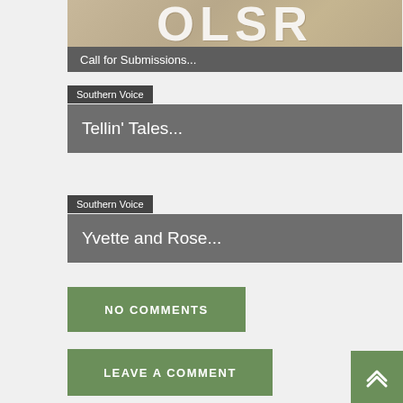[Figure (photo): Cropped image showing large white letters on a textured sandy/stone background with a dark gray caption bar reading 'Call for Submissions...']
Call for Submissions...
Southern Voice
Tellin' Tales...
Southern Voice
Yvette and Rose...
NO COMMENTS
LEAVE A COMMENT